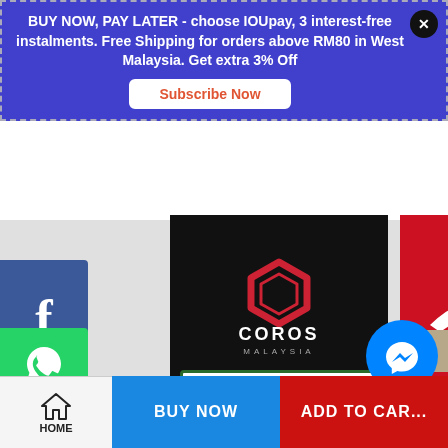BUY NOW, PAY LATER - choose IOUpay, 3 interest-free instalments. Free Shipping for orders above RM80 in West Malaysia. Get extra 3% Off
Subscribe Now
[Figure (logo): Facebook logo - white F on dark blue background]
[Figure (logo): COROS MALAYSIA logo - red hexagon icon with COROS MALAYSIA text on black background]
[Figure (logo): ALTRA logo - white swoosh and text on red background]
[Figure (logo): WhatsApp logo - white phone icon on green background]
[Figure (logo): Travel logo - partial green globe logo on white background with green border]
[Figure (logo): Facebook Messenger icon - blue circle with lightning bolt]
HOME
BUY NOW
ADD TO CART